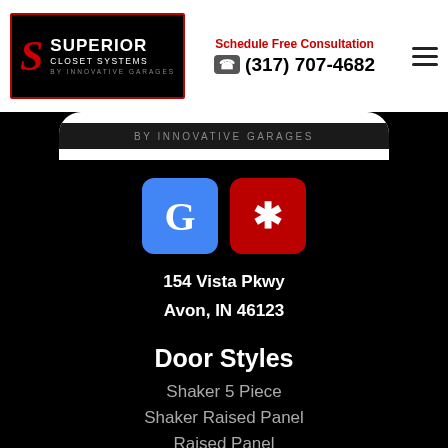[Figure (logo): Superior Closet Systems by Innovative Garages logo with red S on black background]
Schedule Free Consultation
☎ (317) 707-4682
[Figure (screenshot): Partial screenshot of mobile website showing Superior Closet Systems header]
[Figure (logo): Google G icon (blue) and Yelp burst icon (red) side by side]
154 Vista Pkwy
Avon, IN 46123
Door Styles
Shaker 5 Piece
Shaker Raised Panel
Raised Panel
Flat Panel